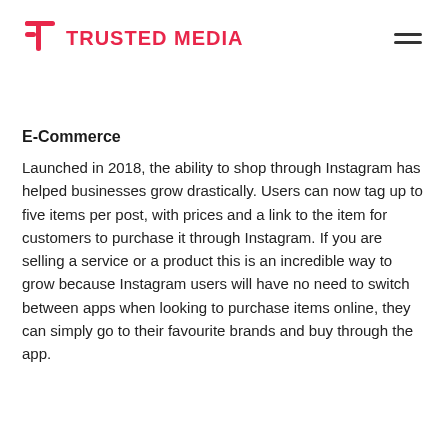TRUSTED MEDIA
E-Commerce
Launched in 2018, the ability to shop through Instagram has helped businesses grow drastically. Users can now tag up to five items per post, with prices and a link to the item for customers to purchase it through Instagram. If you are selling a service or a product this is an incredible way to grow because Instagram users will have no need to switch between apps when looking to purchase items online, they can simply go to their favourite brands and buy through the app.